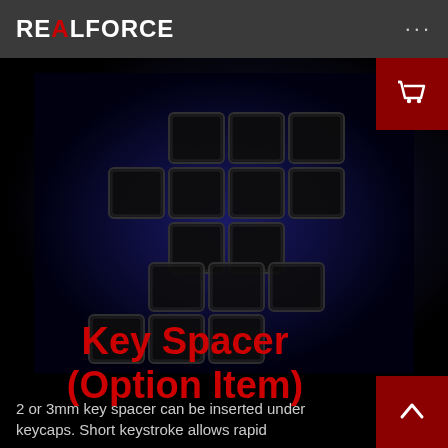REALFORCE
[Figure (photo): Product photo of Realforce Key Spacer rubber/plastic pieces arranged in a diamond grid pattern, illuminated with blue light on a black background]
Key Spacer (Option Item)
2 or 3mm key spacer can be inserted under keycaps. Short keystroke allows rapid